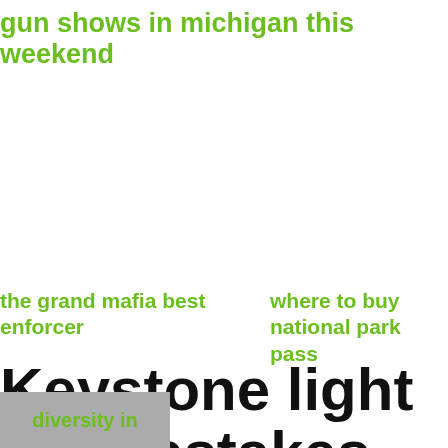gun shows in michigan this weekend
the grand mafia best enforcer
where to buy national park pass
Keystone light sweepstakes
should
The beer brand announced a national sweepstakes today that is equal parts amazing and depressing: Keystone Light will
you
consider
diversity in